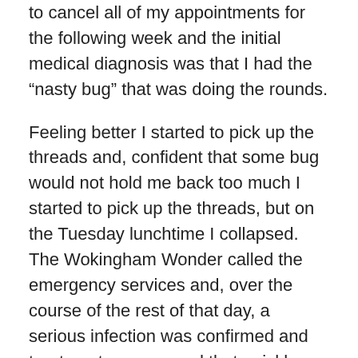to cancel all of my appointments for the following week and the initial medical diagnosis was that I had the “nasty bug” that was doing the rounds.
Feeling better I started to pick up the threads and, confident that some bug would not hold me back too much I started to pick up the threads, but on the Tuesday lunchtime I collapsed. The Wokingham Wonder called the emergency services and, over the course of the rest of that day, a serious infection was confirmed and treatment commenced that quickly resolved that problem. The full medical was booked for the coming Saturday and I was confident that things had been sorted after the original misdiagnosis.
I arrived at the clinic with the Berkshire Belle in tow and was poked, prodded and otherwise subjected to various